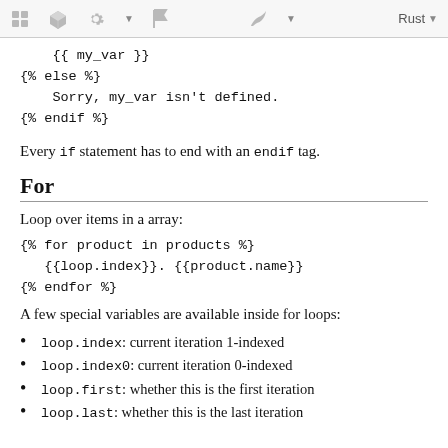toolbar with icons and Rust label
{{ my_var }}
{% else %}
    Sorry, my_var isn't defined.
{% endif %}
Every if statement has to end with an endif tag.
For
Loop over items in a array:
{% for product in products %}
   {{loop.index}}. {{product.name}}
{% endfor %}
A few special variables are available inside for loops:
loop.index: current iteration 1-indexed
loop.index0: current iteration 0-indexed
loop.first: whether this is the first iteration
loop.last: whether this is the last iteration